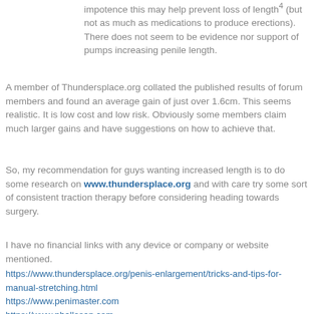impotence this may help prevent loss of length4 (but not as much as medications to produce erections). There does not seem to be evidence nor support of pumps increasing penile length.
A member of Thundersplace.org collated the published results of forum members and found an average gain of just over 1.6cm. This seems realistic. It is low cost and low risk. Obviously some members claim much larger gains and have suggestions on how to achieve that.
So, my recommendation for guys wanting increased length is to do some research on www.thundersplace.org and with care try some sort of consistent traction therapy before considering heading towards surgery.
I have no financial links with any device or company or website mentioned.
https://www.thundersplace.org/penis-enlargement/tricks-and-tips-for-manual-stretching.html
https://www.penimaster.com
https://www.phallosan.com